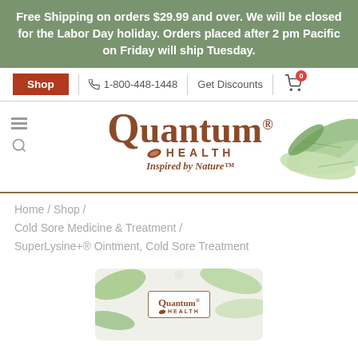Free Shipping on orders $29.99 and over. We will be closed for the Labor Day holiday. Orders placed after 2 pm Pacific on Friday will ship Tuesday.
Shop | 1-800-448-1448 | Get Discounts | Cart 0
[Figure (logo): Quantum Health logo with leaf motif and tagline 'Inspired by Nature']
Home / Shop / Cold Sore Medicine & Treatment / SuperLysine+® Ointment, Cold Sore Treatment
[Figure (photo): Quantum Health product packaging partially visible at bottom of page]